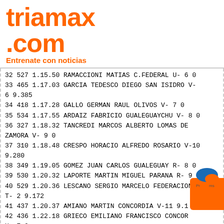[Figure (logo): triamax.com logo in orange with tagline 'Entrenate con noticias']
32 527 1.15.50 RAMACCIONI MATIAS C.FEDERAL U- 6 0
33 465 1.17.03 GARCIA TEDESCO DIEGO SAN ISIDRO V-6 9.385
34 418 1.17.28 GALLO GERMAN RAUL OLIVOS V- 7 0
35 534 1.17.55 ARDAIZ FABRICIO GUALEGUAYCHU V- 8 0
36 327 1.18.32 TANCREDI MARCOS ALBERTO LOMAS DE ZAMORA V- 9 0
37 310 1.18.48 CRESPO HORACIO ALFREDO ROSARIO V-10 9.280
38 349 1.19.05 GOMEZ JUAN CARLOS GUALEGUAY R- 8 0
39 530 1.20.32 LAPORTE MARTIN MIGUEL PARANA R- 9 0
40 529 1.20.36 LESCANO SERGIO MARCELO FEDERACION T- 2 9.172
41 437 1.20.37 AMIANO MARTIN CONCORDIA V-11 9.1
42 436 1.22.18 GRIECO EMILIANO FRANCISCO CONCOR U- 7 0
43 353 1.23.34 MORABELLI JUAN FRANCISCO CAMPANA V-